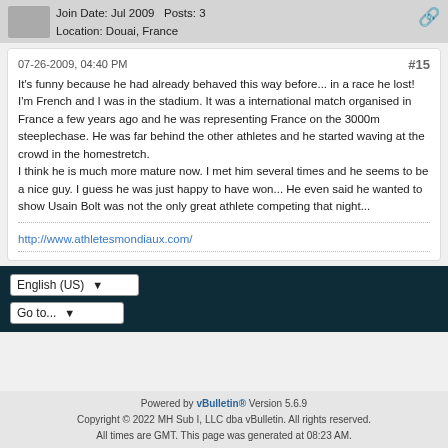Join Date: Jul 2009   Posts: 3
Location: Douai, France
07-26-2009, 04:40 PM   #15
It's funny because he had already behaved this way before... in a race he lost! I'm French and I was in the stadium. It was a international match organised in France a few years ago and he was representing France on the 3000m steeplechase. He was far behind the other athletes and he started waving at the crowd in the homestretch.
I think he is much more mature now. I met him several times and he seems to be a nice guy. I guess he was just happy to have won... He even said he wanted to show Usain Bolt was not the only great athlete competing that night...
http://www.athletesmondiaux.com/
Powered by vBulletin® Version 5.6.9
Copyright © 2022 MH Sub I, LLC dba vBulletin. All rights reserved.
All times are GMT. This page was generated at 08:23 AM.